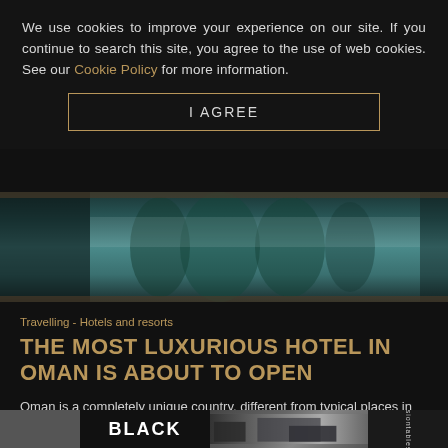We use cookies to improve your experience on our site. If you continue to search this site, you agree to the use of web cookies. See our Cookie Policy for more information.
I AGREE
[Figure (photo): Luxury hotel pool reflecting trees and sky, horizontal banner image]
Travelling - Hotels and resorts
THE MOST LUXURIOUS HOTEL IN OMAN IS ABOUT TO OPEN
Oman is a completely unique country, different from typical places in the Middle East.
[Figure (photo): Advertisement strip showing: grey block, BLACK logo, interior room photo, fusiontables brand]